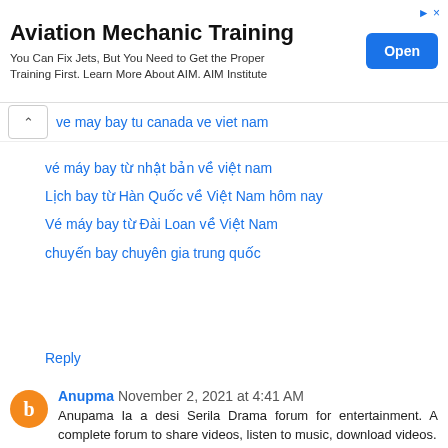[Figure (other): Advertisement banner for Aviation Mechanic Training with an Open button]
ve may bay tu canada ve viet nam
vé máy bay từ nhật bản về việt nam
Lịch bay từ Hàn Quốc về Việt Nam hôm nay
Vé máy bay từ Đài Loan về Việt Nam
chuyến bay chuyên gia trung quốc
Reply
Anupma November 2, 2021 at 4:41 AM
Anupama Ia a desi Serila Drama forum for entertainment. A complete forum to share videos, listen to music, download videos.